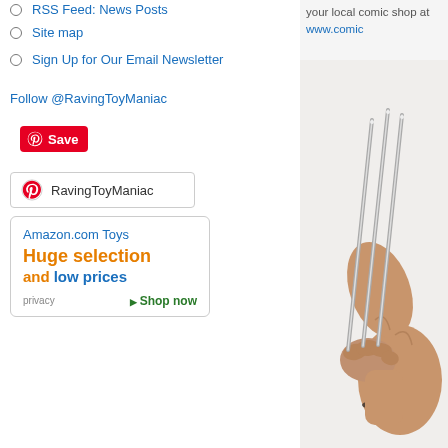RSS Feed: News Posts
Site map
Sign Up for Our Email Newsletter
Follow @RavingToyManiac
[Figure (other): Pinterest Save button (red)]
[Figure (other): Pinterest board widget: RavingToyManiac]
[Figure (other): Amazon.com Toys ad: Huge selection and low prices. Shop now.]
your local comic shop at www.comic
[Figure (photo): Action figure arm with Wolverine-style claws extended]